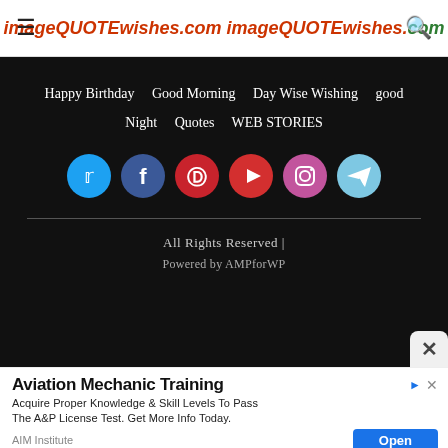imageQUOTEwishes.com
Happy Birthday   Good Morning   Day Wise Wishing   good Night   Quotes   WEB STORIES
[Figure (other): Social media icons: Twitter, Facebook, Pinterest, YouTube, Instagram, Telegram]
All Rights Reserved |
Powered by AMPforWP
Aviation Mechanic Training
Acquire Proper Knowledge & Skill Levels To Pass The A&P License Test. Get More Info Today.
AIM Institute  Open